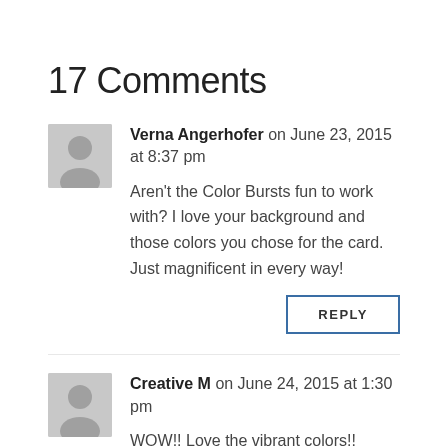17 Comments
Verna Angerhofer on June 23, 2015 at 8:37 pm
Aren't the Color Bursts fun to work with? I love your background and those colors you chose for the card. Just magnificent in every way!
REPLY
Creative M on June 24, 2015 at 1:30 pm
WOW!! Love the vibrant colors!! Absolutely Awesome!! Beautiful!!
Have a wonderful day,